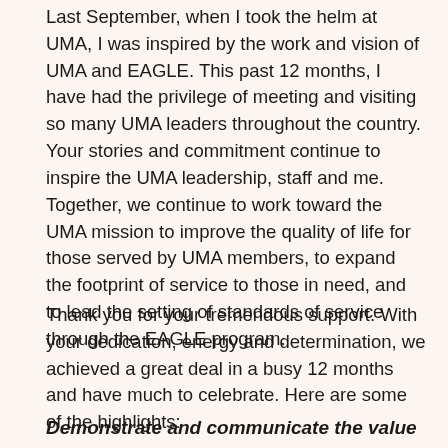Last September, when I took the helm at UMA, I was inspired by the work and vision of UMA and EAGLE. This past 12 months, I have had the privilege of meeting and visiting so many UMA leaders throughout the country. Your stories and commitment continue to inspire the UMA leadership, staff and me. Together, we continue to work toward the UMA mission to improve the quality of life for those served by UMA members, to expand the footprint of service to those in need, and to lead the setting of standards of service through the EAGLE program.
Thank you for your tremendous support. With your dedication, energy and determination, we achieved a great deal in a busy 12 months and have much to celebrate. Here are some of the highlights:
Demonstrate and communicate the value prop for UMA